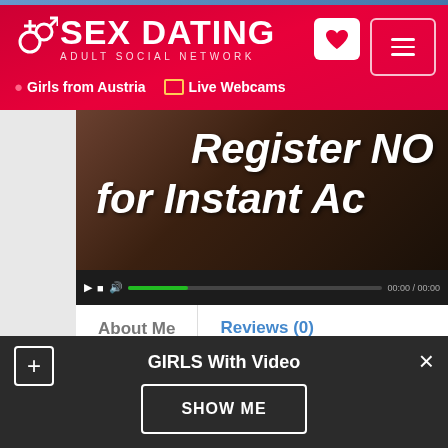SEX DATING – ADULT SOCIAL NETWORK | Girls from Austria | Live Webcams
[Figure (screenshot): Video player showing promotional content with text 'Register NO for Instant Ac' with video controls bar]
About Me   Reviews (0)
Location: Wels    21 years old
About Daniela
So I'm defiantly looking for a good fuck. I can't host but I can
GIRLS With Video
SHOW ME